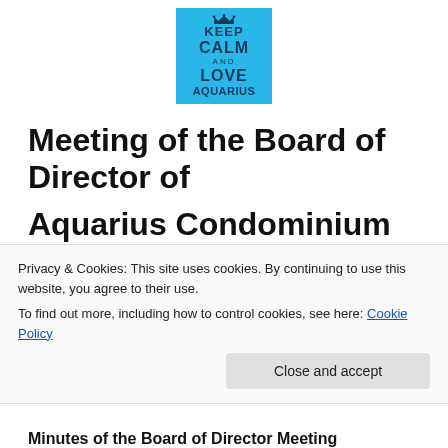[Figure (logo): Keep Calm and Love Aquarius logo on a blue background]
Meeting of the Board of Director of Aquarius Condominium
Date:  Thursday, October 29, 2015     Time:  7:00
Privacy & Cookies: This site uses cookies. By continuing to use this website, you agree to their use.
To find out more, including how to control cookies, see here: Cookie Policy
Close and accept
Minutes of the Board of Director Meeting